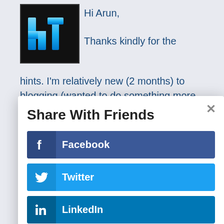[Figure (logo): Blue 'ht' letter logo on black background]
Hi Arun,

Thanks kindly for the hints. I'm relatively new (2 months) to blogging (wanted to do something more productive with the little spare time I have). I
Share With Friends
Facebook
Twitter
LinkedIn
Gmail